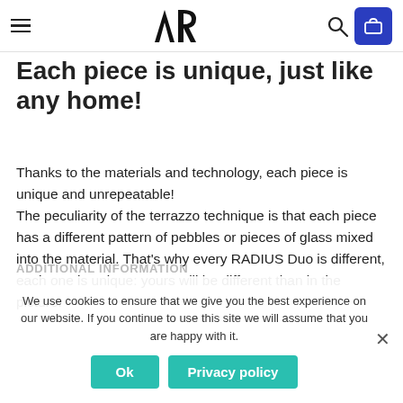Navigation bar with hamburger menu, AR logo, search icon, and cart button
Each piece is unique, just like any home!
Thanks to the materials and technology, each piece is unique and unrepeatable! The peculiarity of the terrazzo technique is that each piece has a different pattern of pebbles or pieces of glass mixed into the material. That's why every RADIUS Duo is different, each one is unique: yours will be different than in the picture.
We use cookies to ensure that we give you the best experience on our website. If you continue to use this site we will assume that you are happy with it.
ADDITIONAL INFORMATION